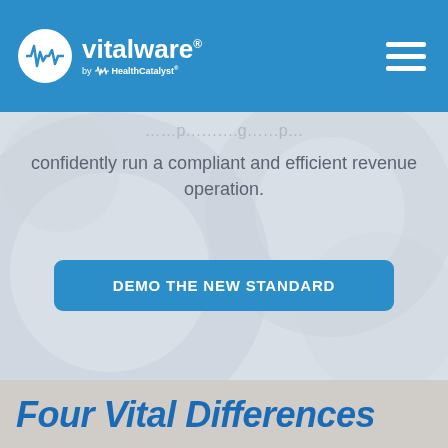vitalware by HealthCatalyst
confidently run a compliant and efficient revenue operation.
DEMO THE NEW STANDARD
Four Vital Differences